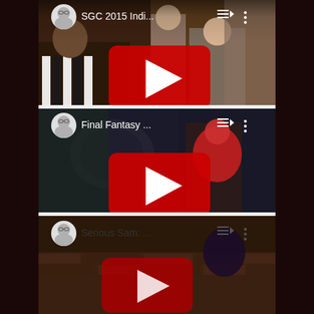[Figure (screenshot): YouTube app screenshot showing three video thumbnails with play buttons. First video titled 'SGC 2015 Indi...' showing a man in referee black and white striped shirt at a convention. Second video titled 'Final Fantasy ...' showing a dark fantasy game scene. Third video titled 'Serious Sam: ...' showing a game scene with brick textures. Each video card has a channel avatar (cartoon face with glasses), queue icon, and more options icon.]